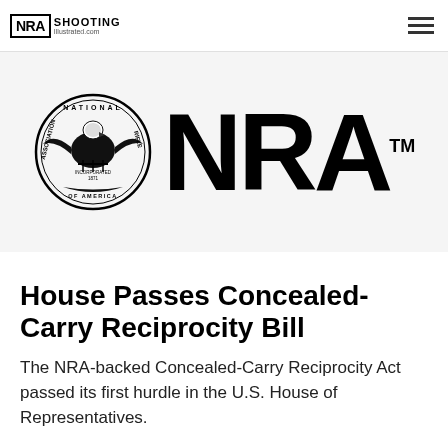NRA SHOOTING Illustrated.com
[Figure (logo): NRA National Rifle Association seal/logo on the left alongside large NRA wordmark text on the right, on a light gray background]
House Passes Concealed-Carry Reciprocity Bill
The NRA-backed Concealed-Carry Reciprocity Act passed its first hurdle in the U.S. House of Representatives.
NEWS